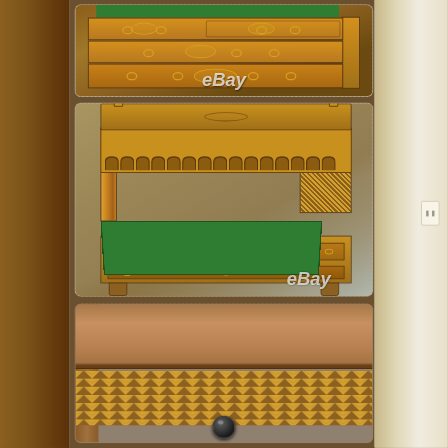[Figure (photo): Antique wooden secretary desk/chest of drawers showing top section with multiple drawers, marquetry inlay, brass ring pulls, and green felt lined top surface. eBay watermark visible.]
[Figure (photo): Antique secretary desk shown open with fall front revealing green felt writing surface, pigeonholes with arched dividers, wicker/cane side panels, decorative columns, lower drawers with brass hardware. eBay watermark visible.]
[Figure (photo): Close-up detail of antique furniture showing bare wood drawer interior (top) and herringbone/chevron marquetry inlay panel (bottom) with dark round knob pull.]